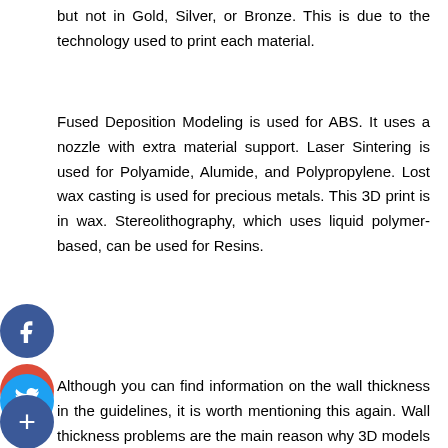but not in Gold, Silver, or Bronze. This is due to the technology used to print each material.
Fused Deposition Modeling is used for ABS. It uses a nozzle with extra material support. Laser Sintering is used for Polyamide, Alumide, and Polypropylene. Lost wax casting is used for precious metals. This 3D print is in wax. Stereolithography, which uses liquid polymer-based, can be used for Resins.
Although you can find information on the wall thickness in the guidelines, it is worth mentioning this again. Wall thickness problems are the main reason why 3D models cannot be printed. Sometimes, the wall thickness is too thin.